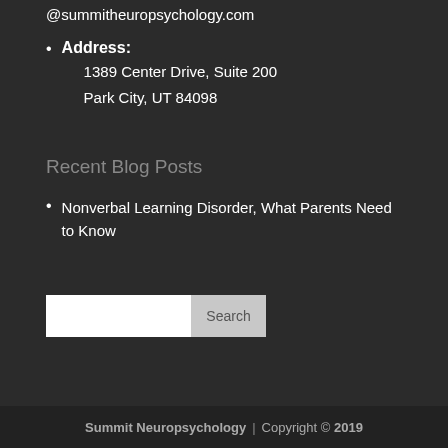@summitheuropsychology.com
Address: 1389 Center Drive, Suite 200 Park City, UT 84098
Recent Blog Posts
Nonverbal Learning Disorder, What Parents Need to Know
Search
Summit Neuropsychology | Copyright © 2019